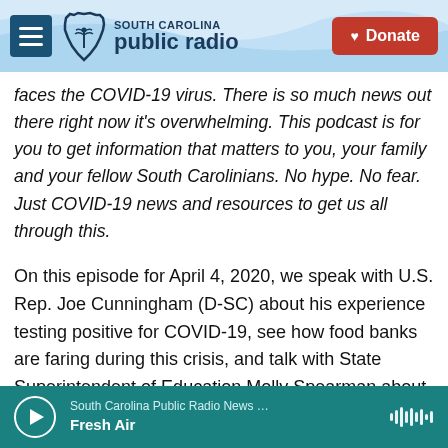South Carolina Public Radio — Donate
faces the COVID-19 virus. There is so much news out there right now it's overwhelming. This podcast is for you to get information that matters to you, your family and your fellow South Carolinians. No hype. No fear. Just COVID-19 news and resources to get us all through this.
On this episode for April 4, 2020, we speak with U.S. Rep. Joe Cunningham (D-SC) about his experience testing positive for COVID-19, see how food banks are faring during this crisis, and talk with State Superintendent of Education Molly Spearman about the current challenges facing the
South Carolina Public Radio News … Fresh Air